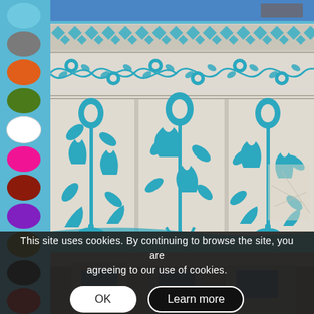[Figure (illustration): Color swatch palette with circles: light blue, gray, orange, dark green, white, hot pink, dark red/brown, purple, olive/dark yellow, black, red]
[Figure (photo): Decorative blue and white floral tile/marble wall pattern, likely from an Indian monument. Features intricate turquoise/cyan floral and vine motifs on white marble. Top portion shows a blue sky. Bottom strip shows architectural elements.]
This site uses cookies. By continuing to browse the site, you are agreeing to our use of cookies.
OK
Learn more